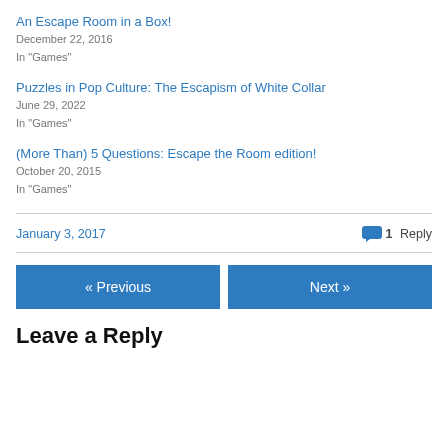An Escape Room in a Box!
December 22, 2016
In "Games"
Puzzles in Pop Culture: The Escapism of White Collar
June 29, 2022
In "Games"
(More Than) 5 Questions: Escape the Room edition!
October 20, 2015
In "Games"
January 3, 2017
1 Reply
« Previous
Next »
Leave a Reply